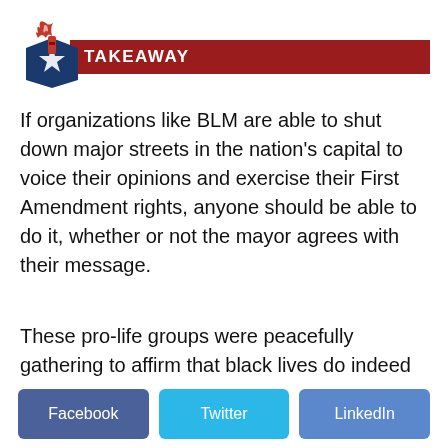[Figure (logo): Heritage Foundation torch logo with red, white, and blue colors, and a dark red horizontal bar with 'TAKEAWAY' text in white]
If organizations like BLM are able to shut down major streets in the nation's capital to voice their opinions and exercise their First Amendment rights, anyone should be able to do it, whether or not the mayor agrees with their message.
These pro-life groups were peacefully gathering to affirm that black lives do indeed matter, but so do their unborn children, as black babies are
[Figure (infographic): Social media share buttons: Facebook (dark blue), Twitter (light blue), LinkedIn (medium blue)]